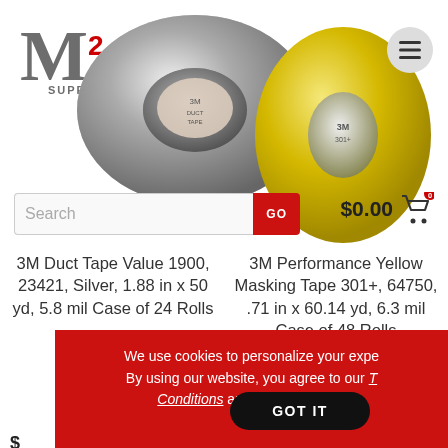[Figure (screenshot): M2 Supply logo with stylized M and superscript 2, and SUPPLY text below]
[Figure (photo): 3M Duct Tape roll silver, and 3M Performance Yellow Masking Tape roll]
[Figure (other): Hamburger menu icon in gray circle]
[Figure (other): Shopping cart icon with $0.00 price and 0 badge]
Search
GO
3M Duct Tape Value 1900, 23421, Silver, 1.88 in x 50 yd, 5.8 mil Case of 24 Rolls
3M Performance Yellow Masking Tape 301+, 64750, .71 in x 60.14 yd, 6.3 mil Case of 48 Rolls
We use cookies to personalize your expe... By using our website, you agree to our T... Conditions and Privacy Policy.
GOT IT